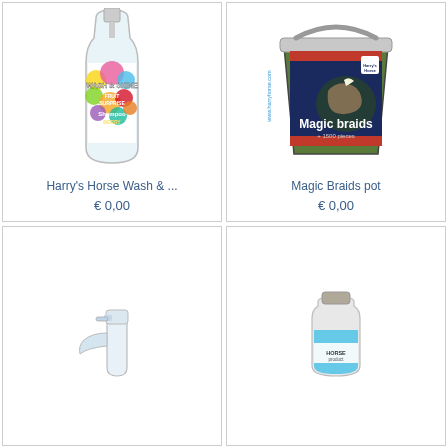[Figure (photo): Harry's Horse Wash & Shine Fruit Surprise Shampoo Berry bottle with colorful circular pattern label]
Harry's Horse Wash & ...
€ 0,00
[Figure (photo): Harry's Horse Magic Braids pot bucket with horse image and label showing Magic braids + 1500 pieces]
Magic Braids pot
€ 0,00
[Figure (photo): White spray bottle trigger sprayer]
[Figure (photo): Blue liquid bottle horse product]